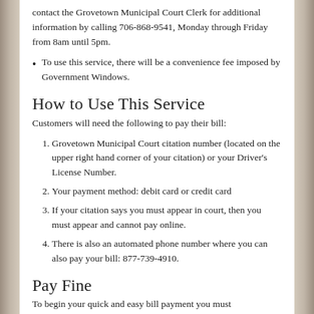contact the Grovetown Municipal Court Clerk for additional information by calling 706-868-9541, Monday through Friday from 8am until 5pm.
To use this service, there will be a convenience fee imposed by Government Windows.
How to Use This Service
Customers will need the following to pay their bill:
1. Grovetown Municipal Court citation number (located on the upper right hand corner of your citation) or your Driver's License Number.
2. Your payment method: debit card or credit card
3. If your citation says you must appear in court, then you must appear and cannot pay online.
4. There is also an automated phone number where you can also pay your bill: 877-739-4910.
Pay Fine
To begin your quick and easy bill payment you must